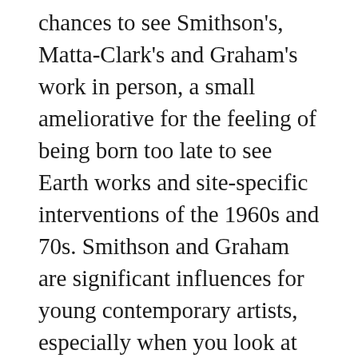chances to see Smithson's, Matta-Clark's and Graham's work in person, a small ameliorative for the feeling of being born too late to see Earth works and site-specific interventions of the 1960s and 70s. Smithson and Graham are significant influences for young contemporary artists, especially when you look at the resurgence of cheeky Romanticism in the curatorial work of Lawrence Rinder, the earthy Transcendentalism of shows like Alchemy at Southern Exposure and the emphasis on viewers in social/relational art.